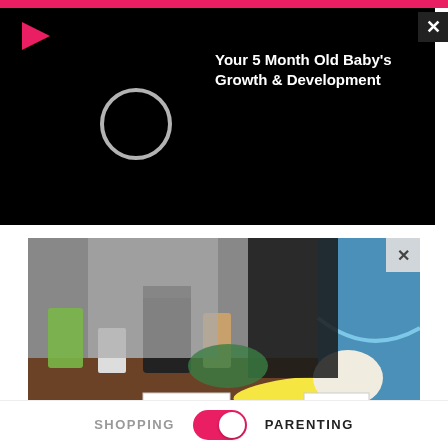[Figure (screenshot): Black video player overlay with play button icon, circular spinner/loading indicator, title text 'Your 5 Month Old Baby's Growth & Development', and close X button in top right corner]
[Figure (screenshot): TV show screenshot showing kitchen counter with smoothie ingredients labeled AFTERNOON and EVENING, two people standing behind counter]
Take 1 Cup Before Bed, Watch Your Body Fat Melt Away
Dr. Kellyann
[Figure (photo): Hand holding several pink/red sugary gummy candies against a teal/dark background]
SHOPPING  PARENTING